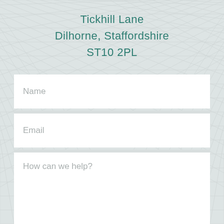Tickhill Lane
Dilhorne, Staffordshire
ST10 2PL
Name
Email
How can we help?